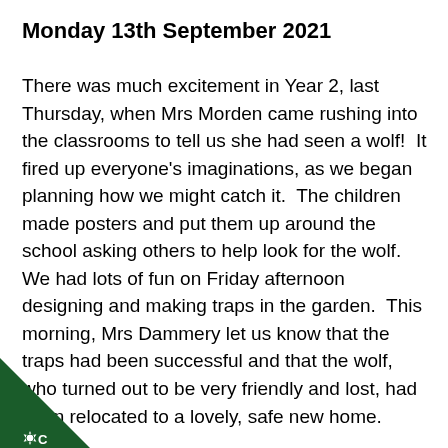Monday 13th September 2021
There was much excitement in Year 2, last Thursday, when Mrs Morden came rushing into the classrooms to tell us she had seen a wolf!  It fired up everyone's imaginations, as we began planning how we might catch it.  The children made posters and put them up around the school asking others to help look for the wolf.  We had lots of fun on Friday afternoon designing and making traps in the garden.  This morning, Mrs Dammery let us know that the traps had been successful and that the wolf, who turned out to be very friendly and lost, had been relocated to a lovely, safe new home.